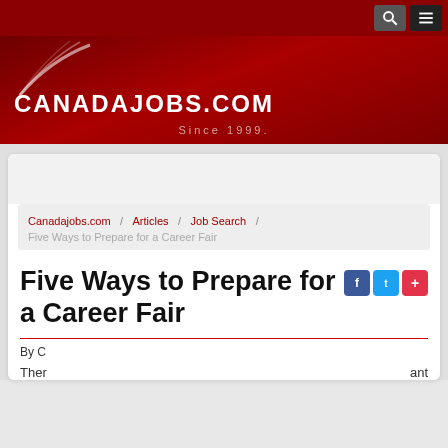CANADAJOBS.COM — Since 1999.
Canadajobs.com / Articles / Job Search / Five Ways to Prepare for a Career Fair
Five Ways to Prepare for a Career Fair
By C
Ther ... ant